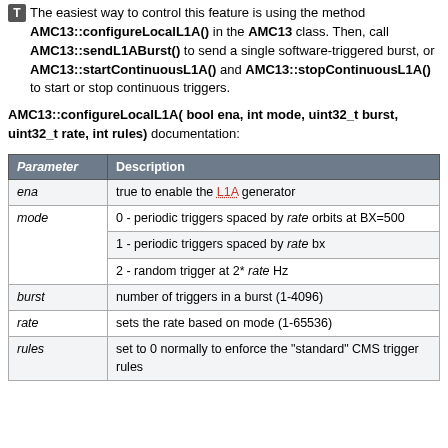The easiest way to control this feature is using the method AMC13::configureLocalL1A() in the AMC13 class. Then, call AMC13::sendL1ABurst() to send a single software-triggered burst, or AMC13::startContinuousL1A() and AMC13::stopContinuousL1A() to start or stop continuous triggers.
AMC13::configureLocalL1A( bool ena, int mode, uint32_t burst, uint32_t rate, int rules) documentation:
| Parameter | Description |
| --- | --- |
| ena | true to enable the L1A generator |
| mode | 0 - periodic triggers spaced by rate orbits at BX=500 |
|  | 1 - periodic triggers spaced by rate bx |
|  | 2 - random trigger at 2* rate Hz |
| burst | number of triggers in a burst (1-4096) |
| rate | sets the rate based on mode (1-65536) |
| rules | set to 0 normally to enforce the "standard" CMS trigger rules |